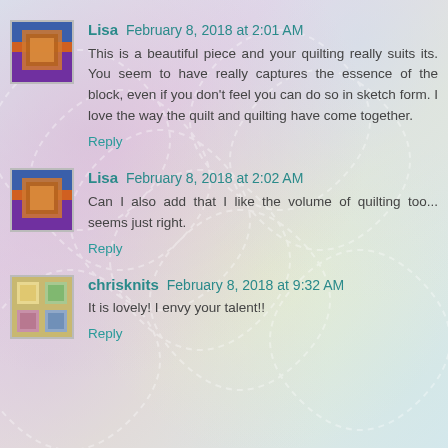Lisa February 8, 2018 at 2:01 AM
This is a beautiful piece and your quilting really suits its. You seem to have really captures the essence of the block, even if you don't feel you can do so in sketch form. I love the way the quilt and quilting have come together.
Reply
Lisa February 8, 2018 at 2:02 AM
Can I also add that I like the volume of quilting too... seems just right.
Reply
chrisknits February 8, 2018 at 9:32 AM
It is lovely! I envy your talent!!
Reply